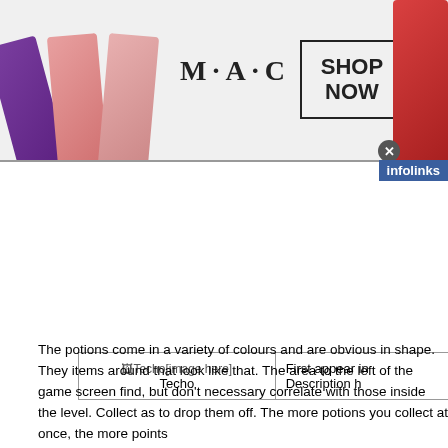[Figure (other): MAC cosmetics advertisement banner with lipsticks on left and right, MAC logo in center, SHOP NOW box, and close button]
| Image | Info |
| --- | --- |
| [image here] Techo | First appear in...
Description h... |
The potions come in a variety of colours and are obvious in shape. They items around that look like that. The area to the left of the game screen find, but don't necessary correlate with those inside the level. Collect as to drop them off. The more potions you collect at once, the more points
The cave is shown by a big rock with a hole in it (essentially what a cave handy if you remember how to get back to it quickly. You deposit your p Make sure you're not next to a cave if you jump as you will deposit your se with the quantity you deposit. It goes 5, 10, 25, 50 then 10 for
[Figure (other): Infolinks bottom advertisement: car image thumbnail, 'Why You Need This Strange Device when the' headline, n/a subtext, blue arrow button, close button]